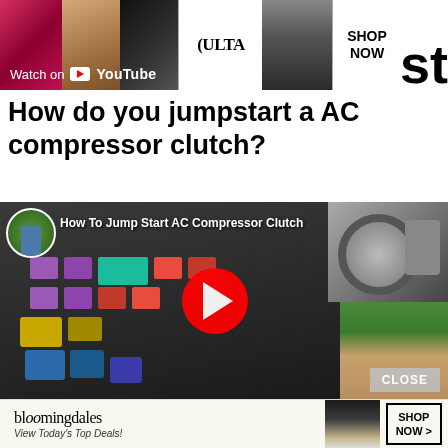[Figure (screenshot): Top banner advertisement showing Ulta Beauty ad with makeup/beauty imagery, 'SHOP NOW' text, 'Watch on YouTube' button, and partial 'st' text on right side.]
How do you jumpstart a AC compressor clutch?
[Figure (screenshot): YouTube video thumbnail titled 'How To Jump Start AC Compressor Clutch' showing a fuse box with colored relays, an AC compressor part image, a YouTube play button, and a person in the background. Has a CLOSE button overlay.]
[Figure (screenshot): Bloomingdale's advertisement banner reading 'bloomingdales View Today's Top Deals!' with a woman in a hat and 'SHOP NOW >' button.]